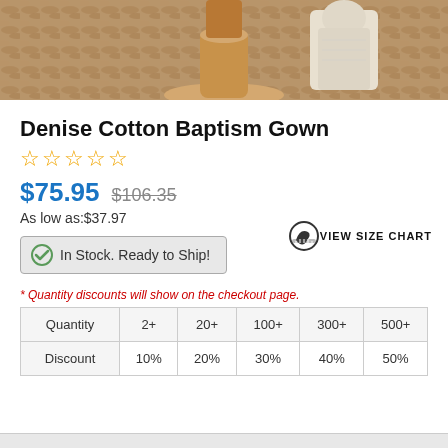[Figure (photo): Product photo showing bottom portion of a wooden stand/candlestick and a white figurine on a brown fur background]
Denise Cotton Baptism Gown
☆☆☆☆☆
$75.95  $106.35
As low as:$37.97
[Figure (infographic): VIEW SIZE CHART icon with tape measure]
In Stock. Ready to Ship!
* Quantity discounts will show on the checkout page.
| Quantity | 2+ | 20+ | 100+ | 300+ | 500+ |
| --- | --- | --- | --- | --- | --- |
| Discount | 10% | 20% | 30% | 40% | 50% |